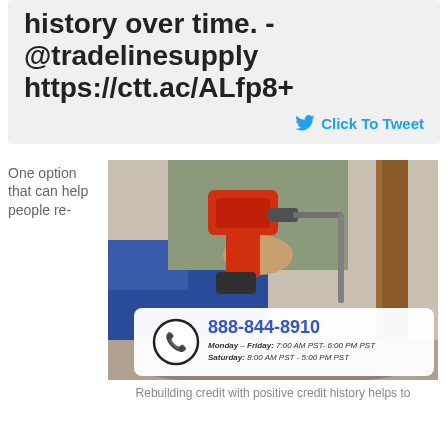history over time. - @tradelinesupply https://ctt.ac/ALfp8+
Click To Tweet
One option that can help people re-
[Figure (photo): Person holding a red power drill, crouching near a wooden chair leg. Below the photo is a contact bar with a phone icon, the number 888-844-8910, and business hours.]
Rebuilding credit with positive credit history helps to...